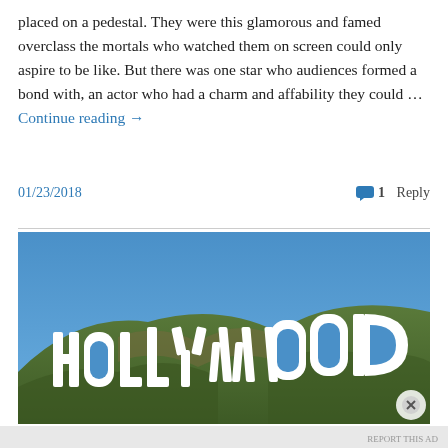placed on a pedestal. They were this glamorous and famed overclass the mortals who watched them on screen could only aspire to be like. But there was one star who audiences formed a bond with, an actor who had a charm and affability they could … Continue reading →
01/23/2018
1 Reply
[Figure (photo): Photo of the Hollywood sign on a hillside with blue sky, white letters visible on green/brown hills.]
Advertisements